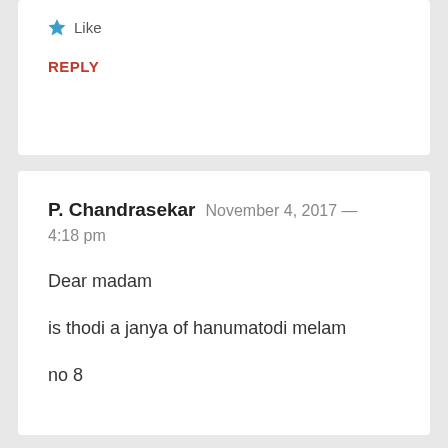Like
REPLY
P. Chandrasekar  November 4, 2017 — 4:18 pm
Dear madam

is thodi a janya of hanumatodi melam

no 8